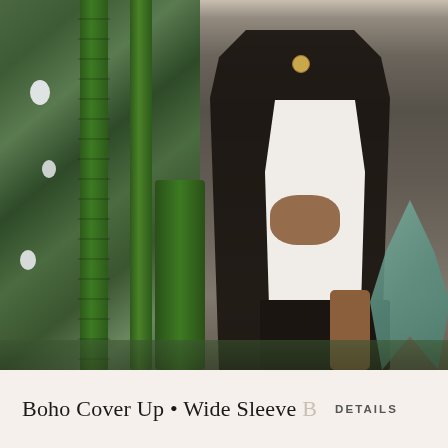[Figure (photo): Fashion photo of a woman wearing a black boho cover-up coat over a white dress, standing among tall green cacti and agave plants with a beige wall in the background.]
Boho Cover Up • Wide Sleeve B
DETAILS